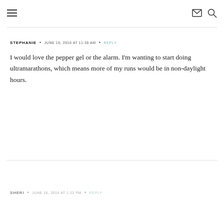≡  ✉ 🔍
STEPHANIE • JUNE 16, 2016 AT 11:36 AM • REPLY
I would love the pepper gel or the alarm. I'm wanting to start doing ultramarathons, which means more of my runs would be in non-daylight hours.
SHERI • JUNE 16, 2016 AT 1:22 PM • REPLY